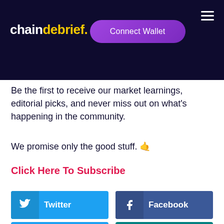chaindebrief.
[Figure (other): Connect Wallet button with purple gradient background]
Be the first to receive our market learnings, editorial picks, and never miss out on what's happening in the community.
We promise only the good stuff. 🤙
Click Here To Subscribe
[Figure (other): Twitter and Facebook social share buttons side by side]
[Figure (other): Two additional social share buttons partially visible at bottom]